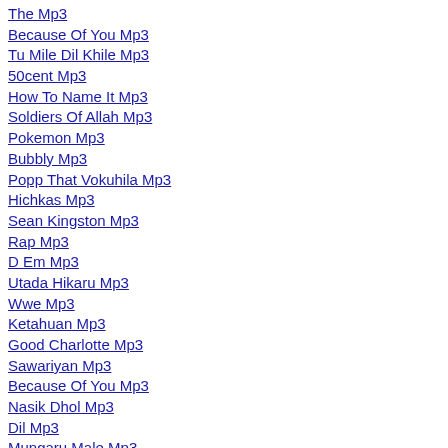The Mp3
Because Of You Mp3
Tu Mile Dil Khile Mp3
50cent Mp3
How To Name It Mp3
Soldiers Of Allah Mp3
Pokemon Mp3
Bubbly Mp3
Popp That Vokuhila Mp3
Hichkas Mp3
Sean Kingston Mp3
Rap Mp3
D Em Mp3
Utada Hikaru Mp3
Wwe Mp3
Ketahuan Mp3
Good Charlotte Mp3
Sawariyan Mp3
Because Of You Mp3
Nasik Dhol Mp3
Dil Mp3
Mungaru Male Mp3
Gladiator Mp3
Hero Mp3
Stephan Massimo Mp3